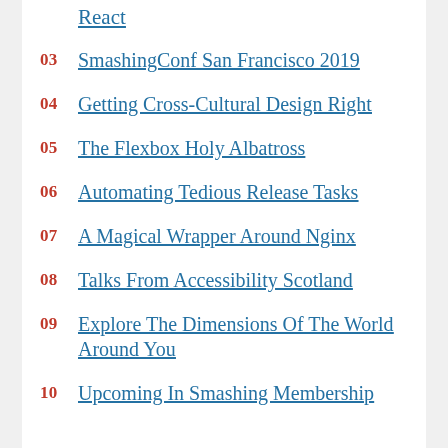React
03 SmashingConf San Francisco 2019
04 Getting Cross-Cultural Design Right
05 The Flexbox Holy Albatross
06 Automating Tedious Release Tasks
07 A Magical Wrapper Around Nginx
08 Talks From Accessibility Scotland
09 Explore The Dimensions Of The World Around You
10 Upcoming In Smashing Membership